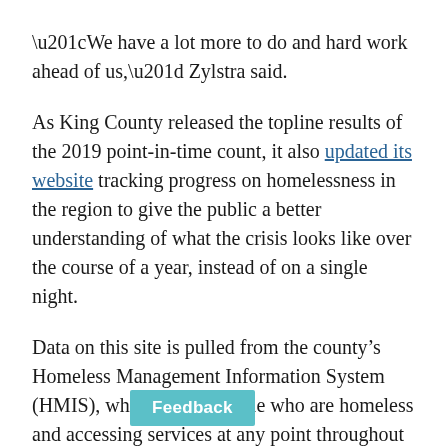“We have a lot more to do and hard work ahead of us,” Zylstra said.
As King County released the topline results of the 2019 point-in-time count, it also updated its website tracking progress on homelessness in the region to give the public a better understanding of what the crisis looks like over the course of a year, instead of on a single night.
Data on this site is pulled from the county’s Homeless Management Information System (HMIS), which tracks people who are homeless and accessing services at any point throughout the year.
Unlike the one night count, it doesn’t count people who are homeless but not getting any services.
This data confirms that the scope of the crisis extends beyond the…aptured on a single night each year.